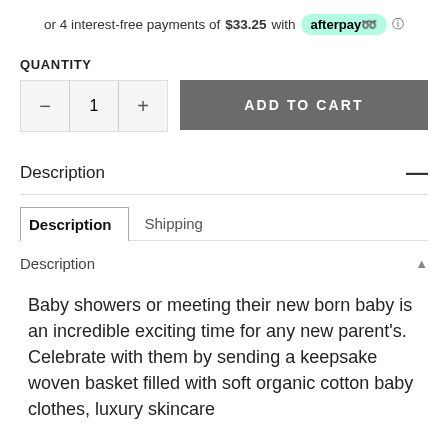or 4 interest-free payments of $33.25 with afterpay ⓘ
QUANTITY
[Figure (screenshot): Quantity selector with minus, 1, plus buttons and ADD TO CART button]
Description
Description | Shipping tabs
Description ▲
Baby showers or meeting their new born baby is an incredible exciting time for any new parent's. Celebrate with them by sending a keepsake woven basket filled with soft organic cotton baby clothes, luxury skincare